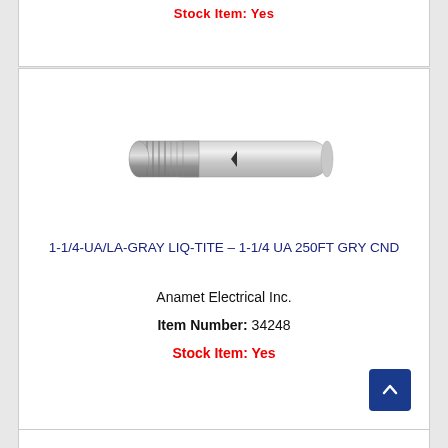Stock Item: Yes
[Figure (photo): Gray liquid-tight flexible conduit with metallic spiral end, approximately 1-1/4 inch diameter]
1-1/4-UA/LA-GRAY LIQ-TITE – 1-1/4 UA 250FT GRY CND
Anamet Electrical Inc.
Item Number: 34248
Stock Item: Yes